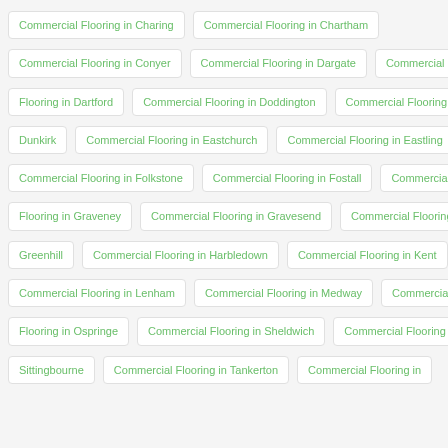Commercial Flooring in Charing
Commercial Flooring in Chartham
Commercial Flooring in Conyer
Commercial Flooring in Dargate
Commercial Flooring in Dartford
Commercial Flooring in Doddington
Commercial Flooring in Dunkirk
Commercial Flooring in Eastchurch
Commercial Flooring in Eastling
Commercial Flooring in Folkstone
Commercial Flooring in Fostall
Commercial Flooring in Graveney
Commercial Flooring in Gravesend
Commercial Flooring in Greenhill
Commercial Flooring in Harbledown
Commercial Flooring in Kent
Commercial Flooring in Lenham
Commercial Flooring in Medway
Commercial Flooring in Ospringe
Commercial Flooring in Sheldwich
Commercial Flooring in Sittingbourne
Commercial Flooring in Tankerton
Commercial Flooring in